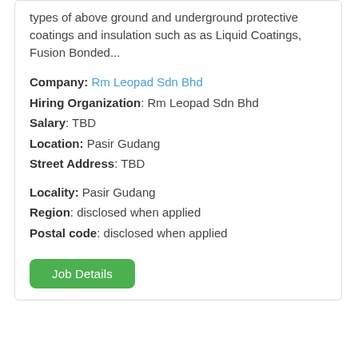types of above ground and underground protective coatings and insulation such as as Liquid Coatings, Fusion Bonded...
Company: Rm Leopad Sdn Bhd
Hiring Organization: Rm Leopad Sdn Bhd
Salary: TBD
Location: Pasir Gudang
Street Address: TBD
Locality: Pasir Gudang
Region: disclosed when applied
Postal code: disclosed when applied
Job Details